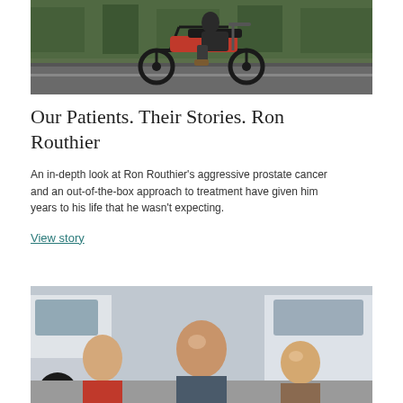[Figure (photo): Person riding a motorcycle on a road, motion blur in background with green trees]
Our Patients. Their Stories. Ron Routhier
An in-depth look at Ron Routhier’s aggressive prostate cancer and an out-of-the-box approach to treatment have given him years to his life that he wasn’t expecting.
View story
[Figure (photo): Group of people including men and a child posing in front of what appears to be a vehicle or RV]